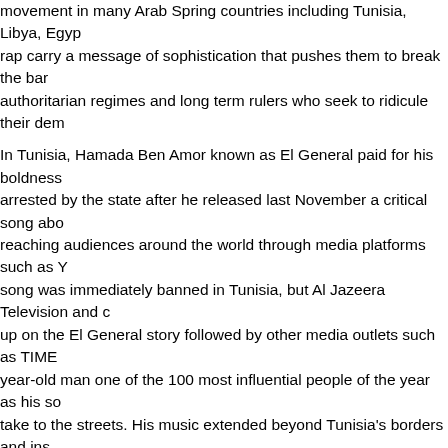movement in many Arab Spring countries including Tunisia, Libya, Egypt. rap carry a message of sophistication that pushes them to break the bar authoritarian regimes and long term rulers who seek to ridicule their dem
In Tunisia, Hamada Ben Amor known as El General paid for his boldness arrested by the state after he released last November a critical song abo reaching audiences around the world through media platforms such as Y song was immediately banned in Tunisia, but Al Jazeera Television and c up on the El General story followed by other media outlets such as TIME year-old man one of the 100 most influential people of the year as his so take to the streets. His music extended beyond Tunisia's borders and ins Egypt.
Demonstrators in Bahrain prepared to flood the streets with El General's change. Bahraini rappers talked in their songs mostly about the rationali served only the interest of the regime.
Egypt's day of rage brought to the forefront a group of rappers like Ram anthem of Egypt's revolution by simply laying out the reasons why it was government. In order to stand against a regime and its repression claim a Knightz" in their song "not your prisoner" they must overcome all the pit p everyday lives not only in Egypt but also in the entire region.
Libya is another country, which has seen a very fast rise in its hip-hop sc adjusts a code for the Libyan youth in which his music captures the ange